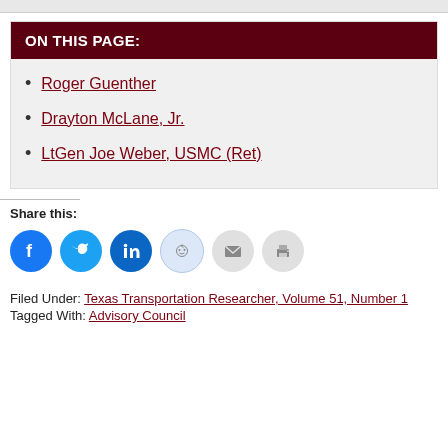ON THIS PAGE:
Roger Guenther
Drayton McLane, Jr.
LtGen Joe Weber, USMC (Ret)
Share this:
[Figure (infographic): Social share icons: Facebook, Twitter, LinkedIn, Reddit, Email, Print]
Filed Under: Texas Transportation Researcher, Volume 51, Number 1
Tagged With: Advisory Council